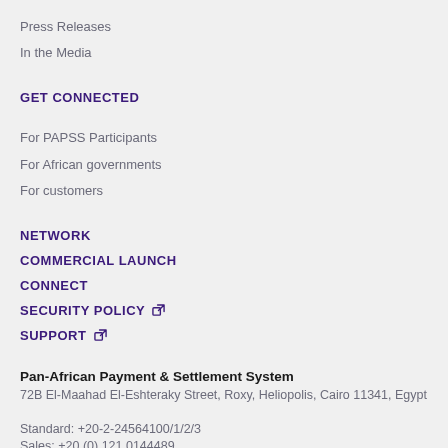Press Releases
In the Media
GET CONNECTED
For PAPSS Participants
For African governments
For customers
NETWORK
COMMERCIAL LAUNCH
CONNECT
SECURITY POLICY
SUPPORT
Pan-African Payment & Settlement System
72B El-Maahad El-Eshteraky Street, Roxy, Heliopolis, Cairo 11341, Egypt
Standard: +20-2-24564100/1/2/3
Sales: +20 (0) 121 0144489